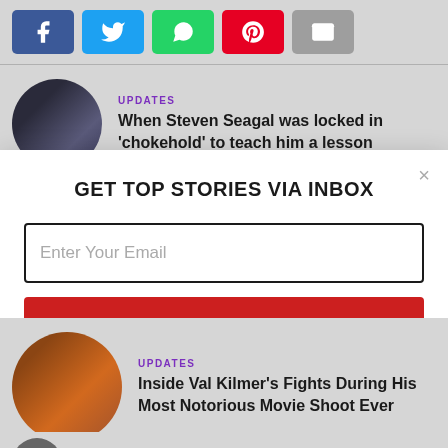[Figure (other): Social share buttons: Facebook, Twitter, WhatsApp, Pinterest, Email]
UPDATES
When Steven Seagal was locked in 'chokehold' to teach him a lesson
[Figure (other): Email signup modal overlay with title GET TOP STORIES VIA INBOX, email input field, FREE SIGN UP > button, and No, thank you. link]
UPDATES
Inside Val Kilmer's Fights During His Most Notorious Movie Shoot Ever
UPDATES